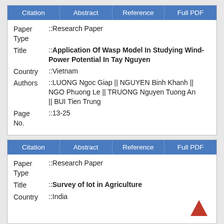| Citation | Abstract | Reference | Full PDF |
| --- | --- | --- | --- |
| Paper Type | ::Research Paper |
| Title | ::Application Of Wasp Model In Studying Wind-Power Potential In Tay Nguyen |
| Country | ::Vietnam |
| Authors | LUONG Ngoc Giap || NGUYEN Binh Khanh || NGO Phuong Le || TRUONG Nguyen Tuong An || BUI Tien Trung |
| Page No. | ::13-25 |
| Citation | Abstract | Reference | Full PDF |
| --- | --- | --- | --- |
| Paper Type | ::Research Paper |
| Title | ::Survey of Iot in Agriculture |
| Country | ::India |